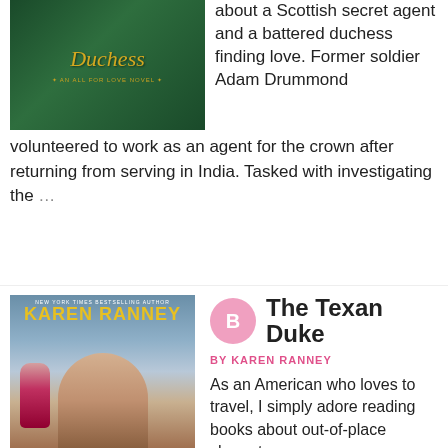[Figure (photo): Book cover for a novel featuring the word 'Duchess' in gold italic script on a dark green fabric background, with subtitle 'An All For Love Novel']
about a Scottish secret agent and a battered duchess finding love. Former soldier Adam Drummond volunteered to work as an agent for the crown after returning from serving in India. Tasked with investigating the …
[Figure (photo): Book cover for 'The Texan Duke' by Karen Ranney, showing a close-up of a handsome man's face and a woman in a red dress in the background, with a wintry outdoor setting]
The Texan Duke
BY KAREN RANNEY
As an American who loves to travel, I simply adore reading books about out-of-place characters,